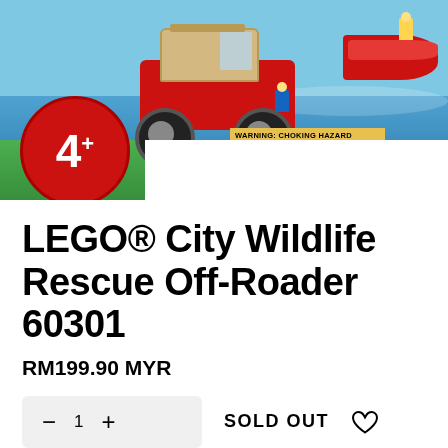[Figure (photo): LEGO City Wildlife Rescue Off-Roader 60301 product box image showing a red off-road vehicle, a boat on water, LEGO minifigures, a 4+ age badge in red circle, and a choking hazard warning label.]
LEGO® City Wildlife Rescue Off-Roader 60301
RM199.90 MYR
— 1 + SOLD OUT ♡